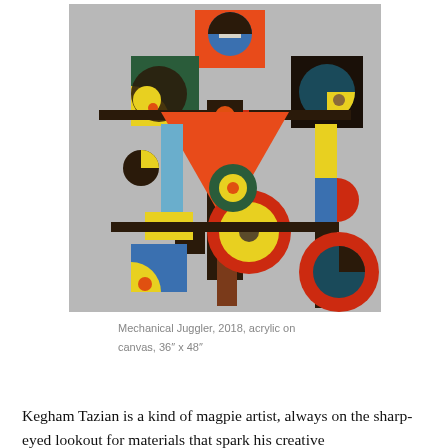[Figure (illustration): Painting titled 'Mechanical Juggler, 2018, acrylic on canvas, 36" x 48"' — an abstract geometric composition featuring bold shapes (circles, squares, rectangles) in red, yellow, blue, green, black, and silver/gray on a silver background, arranged to suggest a mechanical juggling figure.]
Mechanical Juggler, 2018, acrylic on canvas, 36″ x 48″
Kegham Tazian is a kind of magpie artist, always on the sharp-eyed lookout for materials that spark his creative